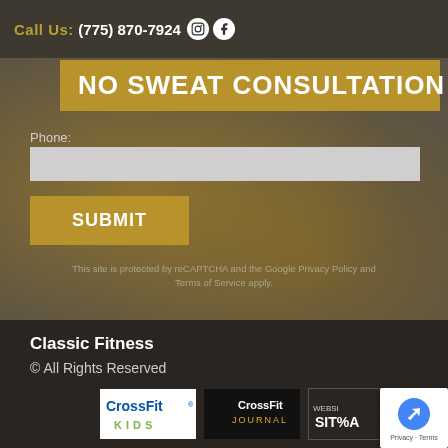Call Us: (775) 870-7924
NO SWEAT CONSULTATION
Phone:
SUBMIT
This site is protected by reCAPTCHA and the Google Privacy Policy and Terms of Service apply.
Classic Fitness
© All Rights Reserved
[Figure (logo): CrossFit KIDS logo]
[Figure (logo): CrossFit Journal logo]
[Figure (logo): Website logo partial]
[Figure (logo): reCAPTCHA badge]